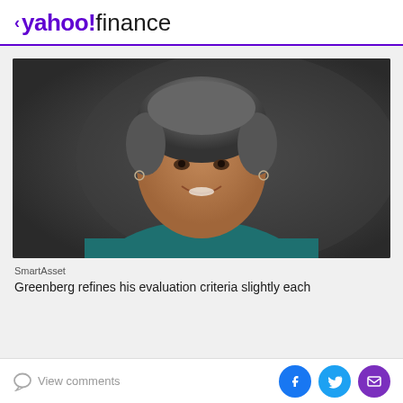< yahoo!finance
[Figure (photo): Professional headshot of a middle-aged woman with short gray hair, wearing a teal/dark green top, smiling, against a dark gray background]
SmartAsset
Greenberg refines his evaluation criteria slightly each
View comments